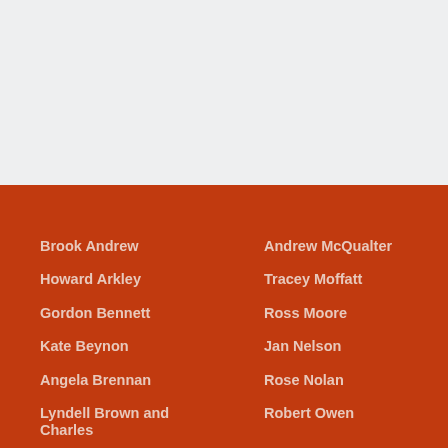Brook Andrew
Andrew McQualter
Howard Arkley
Tracey Moffatt
Gordon Bennett
Ross Moore
Kate Beynon
Jan Nelson
Angela Brennan
Rose Nolan
Lyndell Brown and Charles
Robert Owen